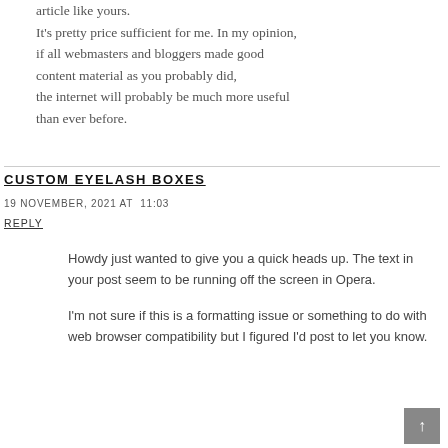article like yours.
It's pretty price sufficient for me. In my opinion, if all webmasters and bloggers made good content material as you probably did, the internet will probably be much more useful than ever before.
CUSTOM EYELASH BOXES
19 NOVEMBER, 2021 AT 11:03
REPLY
Howdy just wanted to give you a quick heads up. The text in your post seem to be running off the screen in Opera.
I'm not sure if this is a formatting issue or something to do with web browser compatibility but I figured I'd post to let you know.